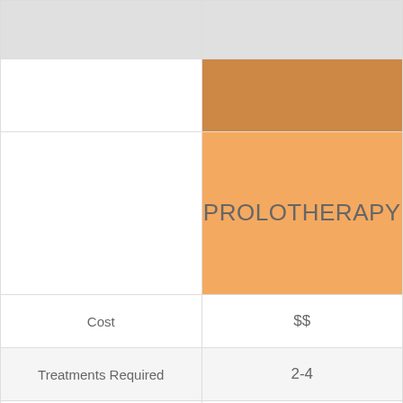PROLOTHERAPY
|  |  |
| --- | --- |
| Cost | $$ |
| Treatments Required | 2-4 |
| Type of Injury | Mild |
| Strength of Treatment | Strong |